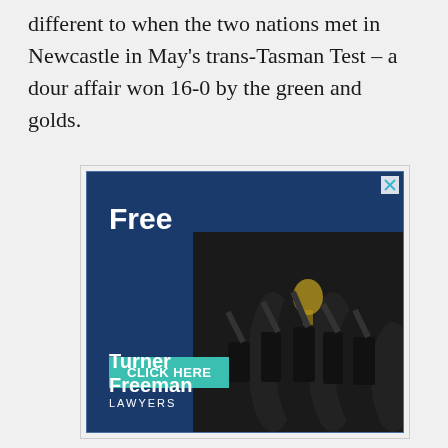different to when the two nations met in Newcastle in May's trans-Tasman Test – a dour affair won 16-0 by the green and golds.
[Figure (other): Advertisement for Turner Freeman Lawyers featuring a rugby league team celebrating with a trophy. Blue background with 'Free' in bold white text, a teal 'CLICK HERE' button, and 'Turner Freeman LAWYERS' branding. A close/dismiss button (X) appears in the top right corner.]